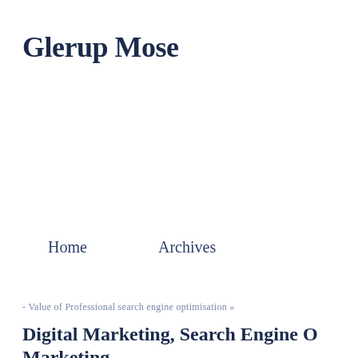Glerup Mose
Home
Archives
- Value of Professional search engine optimisation »
Digital Marketing, Search Engine O… Marketing